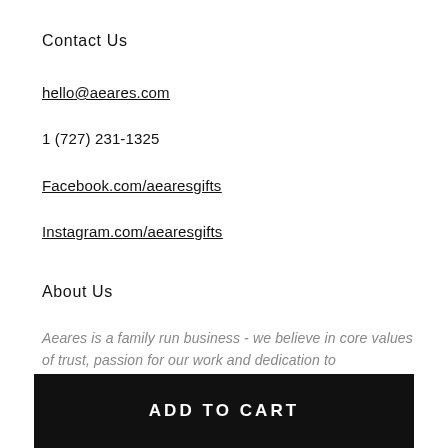Contact Us
hello@aeares.com
1 (727) 231-1325
Facebook.com/aearesgifts
Instagram.com/aearesgifts
About Us
Aeares is a family run business - we believe in core values of trust, passion for our work and dedication to
ADD TO CART